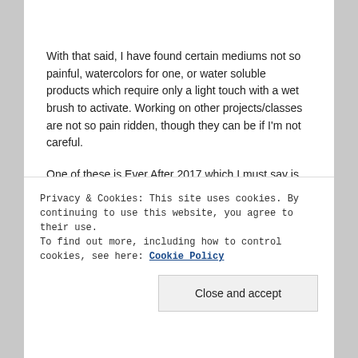With that said, I have found certain mediums not so painful, watercolors for one, or water soluble products which require only a light touch with a wet brush to activate. Working on other projects/classes are not so pain ridden, though they can be if I'm not careful.
One of these is Ever After 2017 which I must say is challenging in many ways. The option I have contains style development classes too so it doesn't just...
Privacy & Cookies: This site uses cookies. By continuing to use this website, you agree to their use.
To find out more, including how to control cookies, see here: Cookie Policy